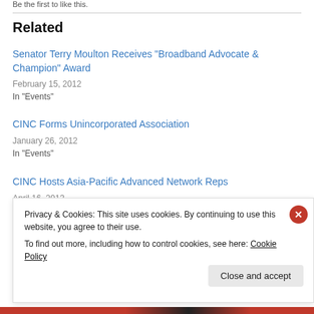Be the first to like this.
Related
Senator Terry Moulton Receives “Broadband Advocate & Champion” Award
February 15, 2012
In "Events"
CINC Forms Unincorporated Association
January 26, 2012
In "Events"
CINC Hosts Asia-Pacific Advanced Network Reps
April 16, 2013
Privacy & Cookies: This site uses cookies. By continuing to use this website, you agree to their use.
To find out more, including how to control cookies, see here: Cookie Policy